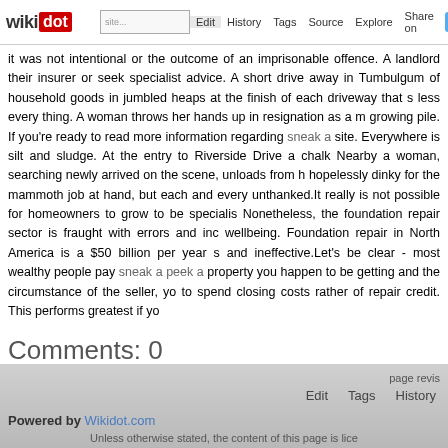wikidot | Edit | History | Tags | Source | Explore | Share on
it was not intentional or the outcome of an imprisonable offence. A landlord their insurer or seek specialist advice. A short drive away in Tumbulgum of household goods in jumbled heaps at the finish of each driveway that s less every thing. A woman throws her hands up in resignation as a m growing pile. If you're ready to read more information regarding sneak a site. Everywhere is silt and sludge. At the entry to Riverside Drive a chalk Nearby a woman, searching newly arrived on the scene, unloads from h hopelessly dinky for the mammoth job at hand, but each and every unthanked.It really is not possible for homeowners to grow to be specialis Nonetheless, the foundation repair sector is fraught with errors and inc wellbeing. Foundation repair in North America is a $50 billion per year s and ineffective.Let's be clear - most wealthy people pay sneak a peek a property you happen to be getting and the circumstance of the seller, yo to spend closing costs rather of repair credit. This performs greatest if yo
Comments: 0
Add a New Comment
page revis Edit Tags History Powered by Wikidot.com Unless otherwise stated, the content of this page is lice